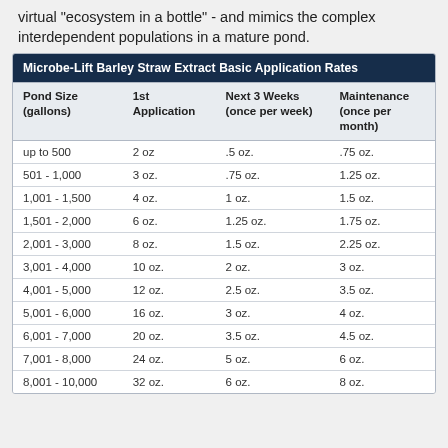virtual "ecosystem in a bottle" - and mimics the complex interdependent populations in a mature pond.
| Pond Size (gallons) | 1st Application | Next 3 Weeks (once per week) | Maintenance (once per month) |
| --- | --- | --- | --- |
| up to 500 | 2 oz | .5 oz. | .75 oz. |
| 501 - 1,000 | 3 oz. | .75 oz. | 1.25 oz. |
| 1,001 - 1,500 | 4 oz. | 1 oz. | 1.5 oz. |
| 1,501 - 2,000 | 6 oz. | 1.25 oz. | 1.75 oz. |
| 2,001 - 3,000 | 8 oz. | 1.5 oz. | 2.25 oz. |
| 3,001 - 4,000 | 10 oz. | 2 oz. | 3 oz. |
| 4,001 - 5,000 | 12 oz. | 2.5 oz. | 3.5 oz. |
| 5,001 - 6,000 | 16 oz. | 3 oz. | 4 oz. |
| 6,001 - 7,000 | 20 oz. | 3.5 oz. | 4.5 oz. |
| 7,001 - 8,000 | 24 oz. | 5 oz. | 6 oz. |
| 8,001 - 10,000 | 32 oz. | 6 oz. | 8 oz. |